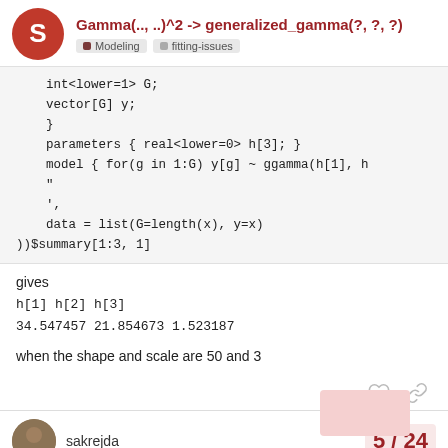Gamma(.., ..)^2 -> generalized_gamma(?, ?, ?) — Modeling fitting-issues
int<lower=1> G;
    vector[G] y;
    }
    parameters { real<lower=0> h[3]; }
    model { for(g in 1:G) y[g] ~ ggamma(h[1], h
    "
    ',
    data = list(G=length(x), y=x)
))$summary[1:3, 1]
gives
h[1] h[2] h[3]
34.547457 21.854673 1.523187
when the shape and scale are 50 and 3
sakrejda — 5 / 24